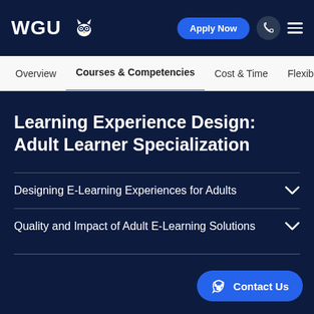[Figure (logo): WGU logo with owl icon in white on dark navy background]
Overview | Courses & Competencies | Cost & Time | Flexible Sch
Learning Experience Design: Adult Learner Specialization
Designing E-Learning Experiences for Adults
Quality and Impact of Adult E-Learning Solutions